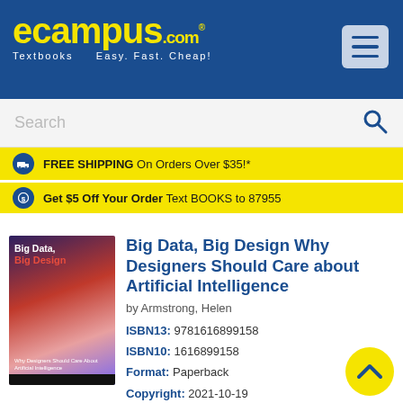[Figure (logo): eCampus.com logo with yellow text on blue background, tagline: Textbooks Easy. Fast. Cheap!]
Search
FREE SHIPPING On Orders Over $35!*
Get $5 Off Your Order Text BOOKS to 87955
Big Data, Big Design Why Designers Should Care about Artificial Intelligence
by Armstrong, Helen
ISBN13: 9781616899158
ISBN10: 1616899158
Format: Paperback
Copyright: 2021-10-19